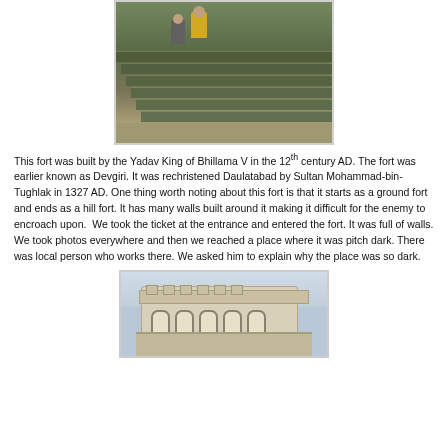[Figure (photo): Two people sitting on stone steps of a fort]
This fort was built by the Yadav King of Bhillama V in the 12th century AD. The fort was earlier known as Devgiri. It was rechristened Daulatabad by Sultan Mohammad-bin-Tughlak in 1327 AD. One thing worth noting about this fort is that it starts as a ground fort and ends as a hill fort. It has many walls built around it making it difficult for the enemy to encroach upon.  We took the ticket at the entrance and entered the fort. It was full of walls. We took photos everywhere and then we reached a place where it was pitch dark. There was local person who works there. We asked him to explain why the place was so dark.
[Figure (photo): White historic fort structure with arches and battlements against a light sky]